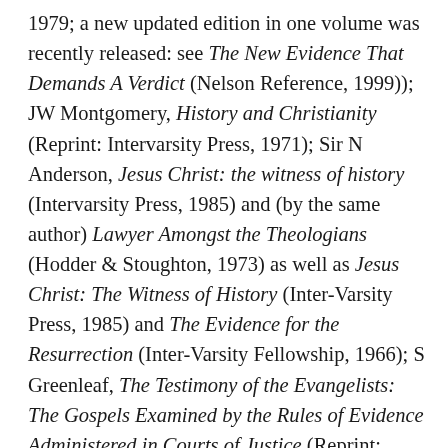1979; a new updated edition in one volume was recently released: see The New Evidence That Demands A Verdict (Nelson Reference, 1999)); JW Montgomery, History and Christianity (Reprint: Intervarsity Press, 1971); Sir N Anderson, Jesus Christ: the witness of history (Intervarsity Press, 1985) and (by the same author) Lawyer Amongst the Theologians (Hodder & Stoughton, 1973) as well as Jesus Christ: The Witness of History (Inter-Varsity Press, 1985) and The Evidence for the Resurrection (Inter-Varsity Fellowship, 1966); S Greenleaf, The Testimony of the Evangelists: The Gospels Examined by the Rules of Evidence Administered in Courts of Justice (Reprint: Kregel Classics, 1995); Frank Morison, Who Moved the Stone? (Reprint: Faber, 1975); D Cliffe, Is the...